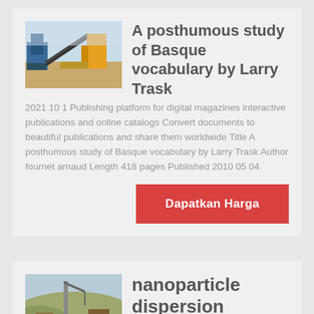[Figure (photo): Thumbnail photo of industrial machinery or construction equipment]
A posthumous study of Basque vocabulary by Larry Trask
2021 10 1 Publishing platform for digital magazines interactive publications and online catalogs Convert documents to beautiful publications and share them worldwide Title A posthumous study of Basque vocabulary by Larry Trask Author fournet arnaud Length 418 pages Published 2010 05 04
Dapatkan Harga
[Figure (photo): Thumbnail photo of construction site or landscape]
nanoparticle dispersion